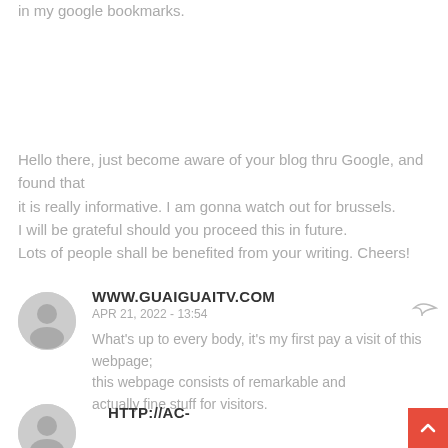in my google bookmarks.
Hello there, just become aware of your blog thru Google, and found that it is really informative. I am gonna watch out for brussels. I will be grateful should you proceed this in future. Lots of people shall be benefited from your writing. Cheers!
WWW.GUAIGUAITV.COM
APR 21, 2022 - 13:54
What's up to every body, it's my first pay a visit of this webpage; this webpage consists of remarkable and actually fine stuff for visitors.
HTTP://AC-